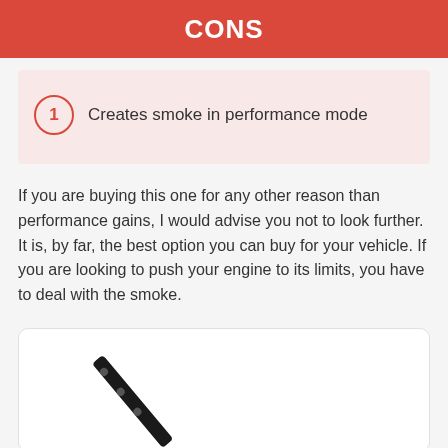CONS
1  Creates smoke in performance mode
If you are buying this one for any other reason than performance gains, I would advise you not to look further. It is, by far, the best option you can buy for your vehicle. If you are looking to push your engine to its limits, you have to deal with the smoke.
[Figure (photo): A black windshield wiper blade or similar elongated black object photographed against a white background, shown diagonally.]